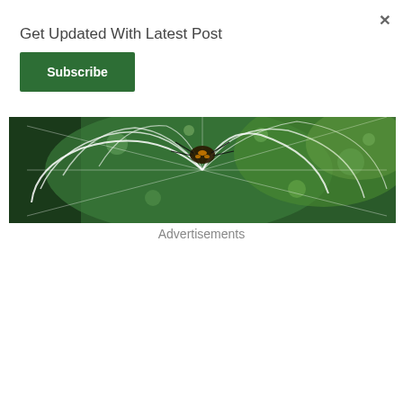×
Get Updated With Latest Post
Subscribe
[Figure (photo): Close-up macro photo of a spider with yellow and black markings on a spiral spider web with green bokeh background and white highlighted silk threads]
Advertisements